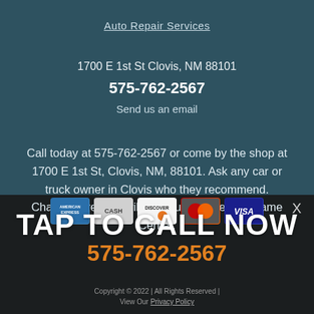Auto Repair Services
1700 E 1st St Clovis, NM 88101
575-762-2567
Send us an email
Call today at 575-762-2567 or come by the shop at 1700 E 1st St, Clovis, NM, 88101. Ask any car or truck owner in Clovis who they recommend. Chances are they will tell you Alignment & Frame Center.
[Figure (other): Payment method icons: American Express, Cash, Discover, Mastercard, Visa]
TAP TO CALL NOW
575-762-2567
Copyright © 2022 | All Rights Reserved | View Our Privacy Policy